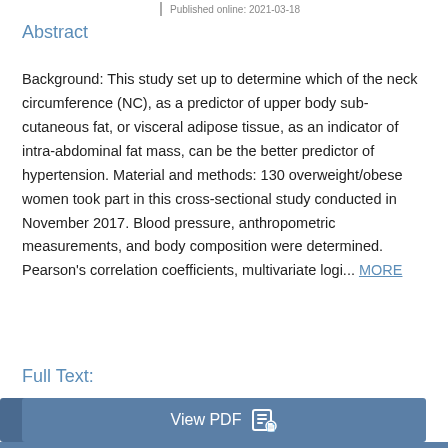Published online: 2021-03-18
Abstract
Background: This study set up to determine which of the neck circumference (NC), as a predictor of upper body sub-cutaneous fat, or visceral adipose tissue, as an indicator of intra-abdominal fat mass, can be the better predictor of hypertension. Material and methods: 130 overweight/obese women took part in this cross-sectional study conducted in November 2017. Blood pressure, anthropometric measurements, and body composition were determined. Pearson's correlation coefficients, multivariate logi... MORE
Full Text:
View PDF